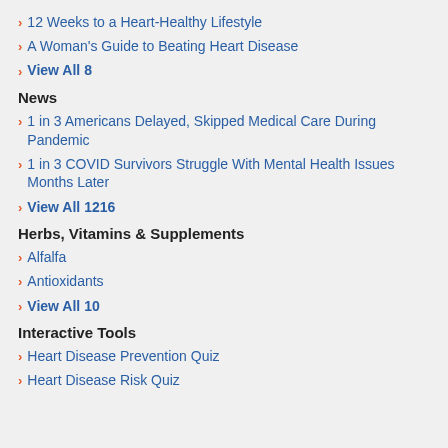12 Weeks to a Heart-Healthy Lifestyle
A Woman's Guide to Beating Heart Disease
View All 8
News
1 in 3 Americans Delayed, Skipped Medical Care During Pandemic
1 in 3 COVID Survivors Struggle With Mental Health Issues Months Later
View All 1216
Herbs, Vitamins & Supplements
Alfalfa
Antioxidants
View All 10
Interactive Tools
Heart Disease Prevention Quiz
Heart Disease Risk Quiz